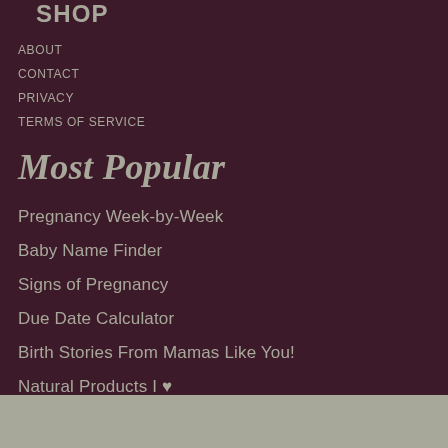SHOP
ABOUT
CONTACT
PRIVACY
TERMS OF SERVICE
Most Popular
Pregnancy Week-by-Week
Baby Name Finder
Signs of Pregnancy
Due Date Calculator
Birth Stories From Mamas Like You!
Natural Products I ♥
MORE NAMES STARTING WITH D ❯